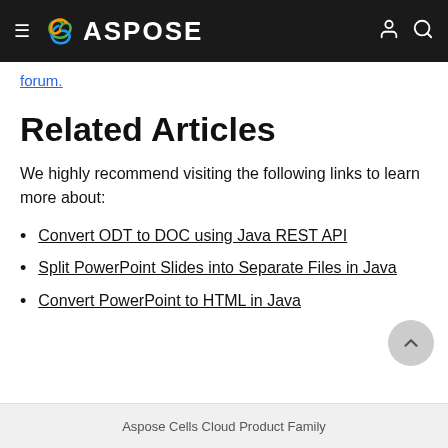ASPOSE
forum.
Related Articles
We highly recommend visiting the following links to learn more about:
Convert ODT to DOC using Java REST API
Split PowerPoint Slides into Separate Files in Java
Convert PowerPoint to HTML in Java
Aspose Cells Cloud Product Family